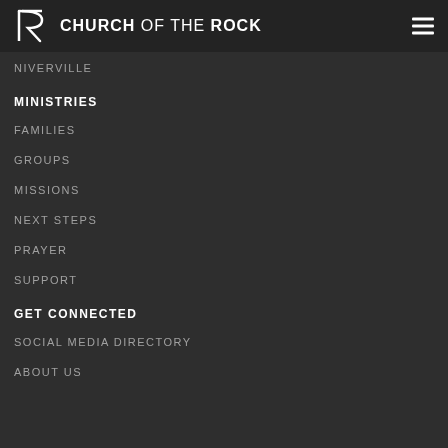CHURCH OF THE ROCK
NIVERVILLE
MINISTRIES
FAMILIES
GROUPS
MISSIONS
NEXT STEPS
PRAYER
SUPPORT
GET CONNECTED
SOCIAL MEDIA DIRECTORY
ABOUT US